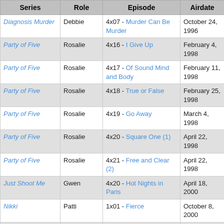| Series | Role | Episode | Airdate |
| --- | --- | --- | --- |
| Diagnosis Murder | Debbie | 4x07 - Murder Can Be Murder | October 24, 1996 |
| Party of Five | Rosalie | 4x16 - I Give Up | February 4, 1998 |
| Party of Five | Rosalie | 4x17 - Of Sound Mind and Body | February 11, 1998 |
| Party of Five | Rosalie | 4x18 - True or False | February 25, 1998 |
| Party of Five | Rosalie | 4x19 - Go Away | March 4, 1998 |
| Party of Five | Rosalie | 4x20 - Square One (1) | April 22, 1998 |
| Party of Five | Rosalie | 4x21 - Free and Clear (2) | April 22, 1998 |
| Just Shoot Me | Gwen | 4x20 - Hot Nights in Paris | April 18, 2000 |
| Nikki | Patti | 1x01 - Fierce | October 8, 2000 |
| Will & Grace | Pam | 3x08/09 - Lows in the Mid-Eighties | November 23, 2000 |
| 3rd Rock from the Sun | Cheryl | 6x12 - Dick's Ark | February 6, 2001 |